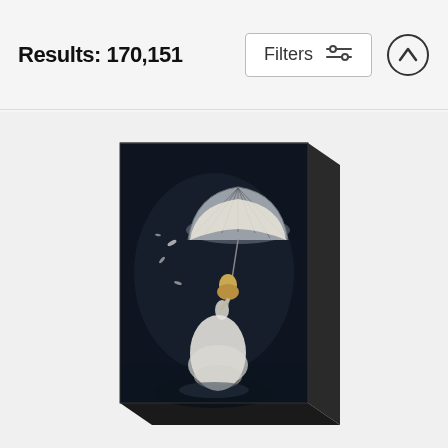Results: 170,151
[Figure (screenshot): Filters button with sliders icon and upward arrow button in header bar]
[Figure (photo): Canvas print product shown at an angle depicting a blonde woman in a white ball gown holding an open umbrella with feathers floating around her against a dark background]